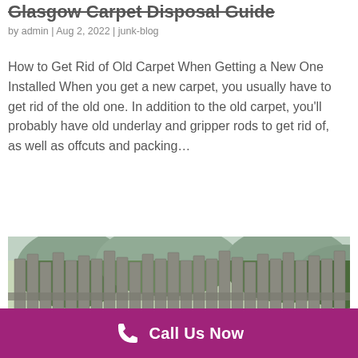Glasgow Carpet Disposal Guide
by admin | Aug 2, 2022 | junk-blog
How to Get Rid of Old Carpet When Getting a New One Installed When you get a new carpet, you usually have to get rid of the old one. In addition to the old carpet, you'll probably have old underlay and gripper rods to get rid of, as well as offcuts and packing...
[Figure (photo): Photo of a weathered wooden fence with greenery and red flowers visible behind it]
Call Us Now